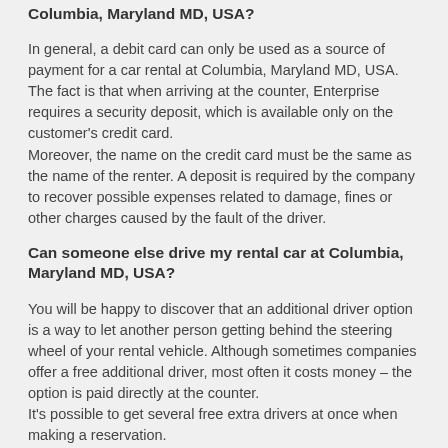Columbia, Maryland MD, USA?
In general, a debit card can only be used as a source of payment for a car rental at Columbia, Maryland MD, USA. The fact is that when arriving at the counter, Enterprise requires a security deposit, which is available only on the customer's credit card.
Moreover, the name on the credit card must be the same as the name of the renter. A deposit is required by the company to recover possible expenses related to damage, fines or other charges caused by the fault of the driver.
Can someone else drive my rental car at Columbia, Maryland MD, USA?
You will be happy to discover that an additional driver option is a way to let another person getting behind the steering wheel of your rental vehicle. Although sometimes companies offer a free additional driver, most often it costs money – the option is paid directly at the counter.
It's possible to get several free extra drivers at once when making a reservation.